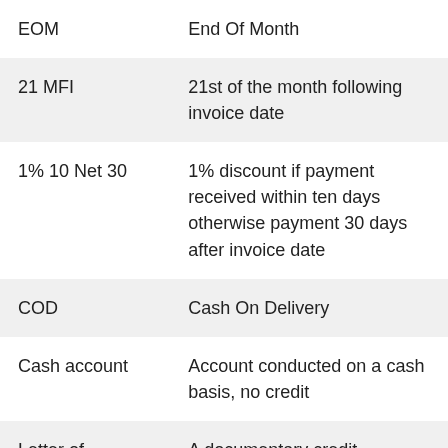| Term | Definition |
| --- | --- |
| EOM | End Of Month |
| 21 MFI | 21st of the month following invoice date |
| 1% 10 Net 30 | 1% discount if payment received within ten days otherwise payment 30 days after invoice date |
| COD | Cash On Delivery |
| Cash account | Account conducted on a cash basis, no credit |
| Letter of | A documentary credit confirmed |